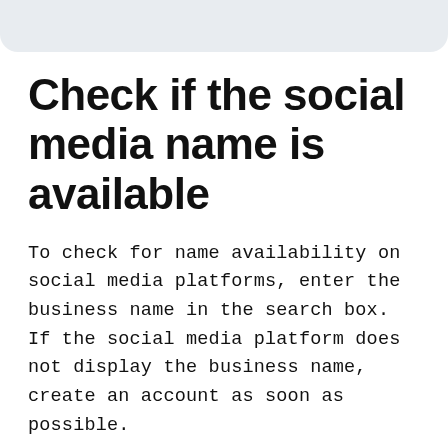Check if the social media name is available
To check for name availability on social media platforms, enter the business name in the search box. If the social media platform does not display the business name, create an account as soon as possible.
If the name is being used by someone else,